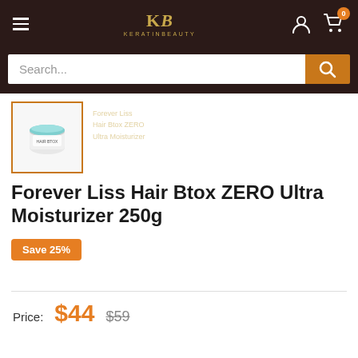KeratinBeauty navigation header with logo, hamburger menu, account icon, and cart with badge 0
Search...
[Figure (photo): Small thumbnail of Forever Liss Hair Btox ZERO Ultra Moisturizer 250g product jar with teal lid, white container]
Forever Liss Hair Btox ZERO Ultra Moisturizer 250g
Save 25%
Price: $44  $59